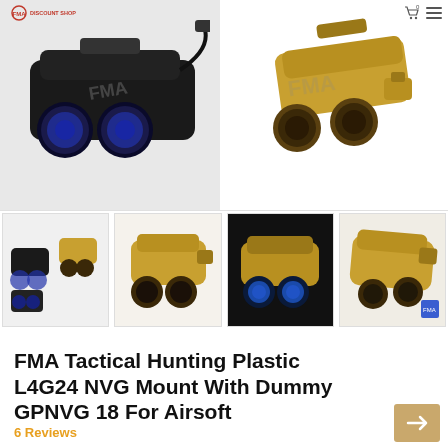[Figure (photo): Main product image split: left shows black FMA GPNVG-18 night vision goggles, right shows tan/desert colored version. FMA watermark visible on both.]
[Figure (photo): Thumbnail 1: Both black and tan GPNVG-18 goggles side by side]
[Figure (photo): Thumbnail 2: Tan multicam GPNVG-18 goggles top view]
[Figure (photo): Thumbnail 3: Close-up of tan GPNVG-18 goggles with blue lenses on dark background]
[Figure (photo): Thumbnail 4: Close-up of tan GPNVG-18 goggles from side angle]
FMA Tactical Hunting Plastic L4G24 NVG Mount With Dummy GPNVG 18 For Airsoft
6 Reviews